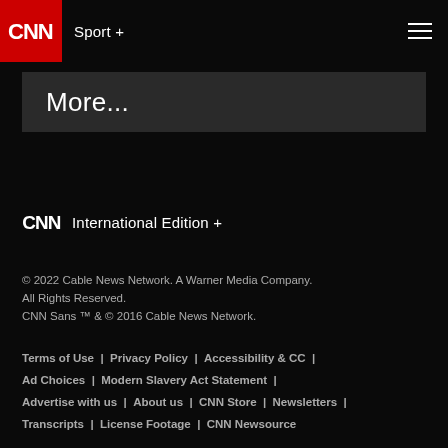CNN Sport +
More...
[Figure (logo): CNN International Edition + logo with CNN wordmark]
© 2022 Cable News Network. A Warner Media Company. All Rights Reserved. CNN Sans ™ & © 2016 Cable News Network.
Terms of Use | Privacy Policy | Accessibility & CC | Ad Choices | Modern Slavery Act Statement | Advertise with us | About us | CNN Store | Newsletters | Transcripts | License Footage | CNN Newsource